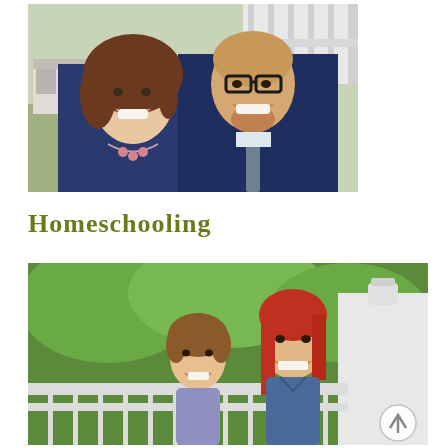[Figure (photo): A smiling couple posing together outdoors. The woman has curly brown hair and wears a navy top with a pink beaded necklace. The man wears glasses, a navy V-neck sweater, and a patterned tie. They are in front of a white fence with bare trees and a building in the background.]
Homeschooling
[Figure (photo): Two young girls smiling on a white deck railing with green trees in the background. The younger girl has light brown hair and the older girl has long red hair and wears a denim shirt.]